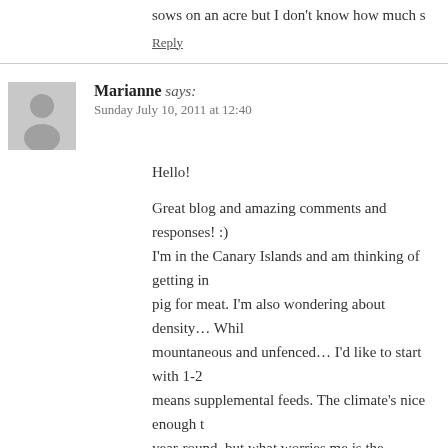sows on an acre but I don't know how much s
Reply
Marianne says:
Sunday July 10, 2011 at 12:40
Hello!
Great blog and amazing comments and responses! :) I'm in the Canary Islands and am thinking of getting in pig for meat. I'm also wondering about density… Whil mountaineous and unfenced… I'd like to start with 1-2 means supplemental feeds. The climate's nice enough t year-round, but what worries me is the waste/environm doable at least for a few years (while I manage to get s
Thanks!!